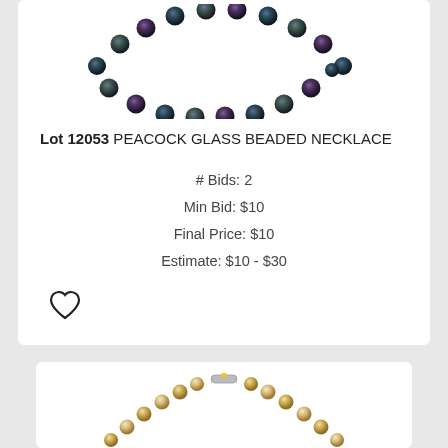[Figure (photo): Dark peacock glass beaded necklace shown in arc shape from above]
Lot 12053 PEACOCK GLASS BEADED NECKLACE
# Bids: 2
Min Bid: $10
Final Price: $10
Estimate: $10 - $30
[Figure (illustration): Heart/favorite icon outline]
[Figure (photo): Gold/cream pearl beaded bracelet or necklace shown in arc shape]